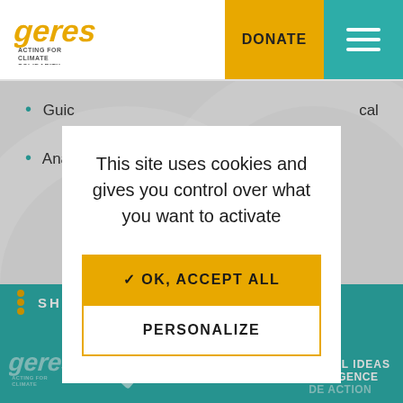[Figure (screenshot): Geres NGO website screenshot showing cookie consent modal dialog with 'OK, ACCEPT ALL' and 'PERSONALIZE' buttons over a page about climate action resources]
GERES - Acting for Climate Solidarity | DONATE
Guic... (truncated) ...cal
Ana... (truncated)
This site uses cookies and gives you control over what you want to activate
✓ OK, ACCEPT ALL
PERSONALIZE
SHARE | LABEL IDEAS L'EXIGENCE DE ACTION